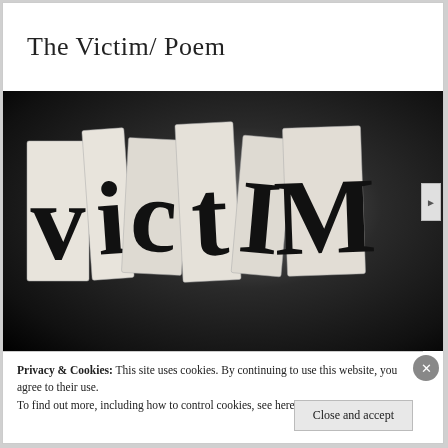The Victim/ Poem
[Figure (photo): Dark background with cut-out newspaper letters spelling 'victIM' in a ransom-note style. Large bold letters on white paper scraps arranged against a dark radial gradient background.]
Privacy & Cookies: This site uses cookies. By continuing to use this website, you agree to their use.
To find out more, including how to control cookies, see here: Cookie Policy
Close and accept